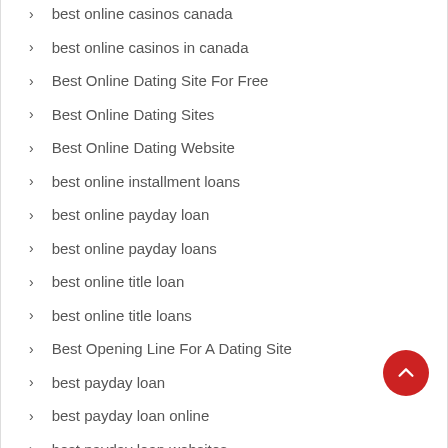best online casinos canada
best online casinos in canada
Best Online Dating Site For Free
Best Online Dating Sites
Best Online Dating Website
best online installment loans
best online payday loan
best online payday loans
best online title loan
best online title loans
Best Opening Line For A Dating Site
best payday loan
best payday loan online
best payday loan websites
best payday loans